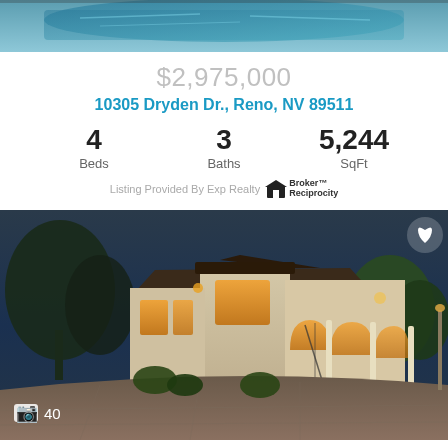[Figure (photo): Top portion of a property photo showing a pool area with blue water, partially cropped]
$2,975,000
10305 Dryden Dr., Reno, NV 89511
| Beds | Baths | SqFt |
| --- | --- | --- |
| 4 | 3 | 5,244 |
Listing Provided By Exp Realty [Broker Reciprocity logo]
[Figure (photo): Exterior photo of a Mediterranean-style luxury home at dusk, showing arched entryway, columns, warm interior lighting, landscaping, and circular driveway. Photo count indicator shows 40 photos.]
$2,950,000